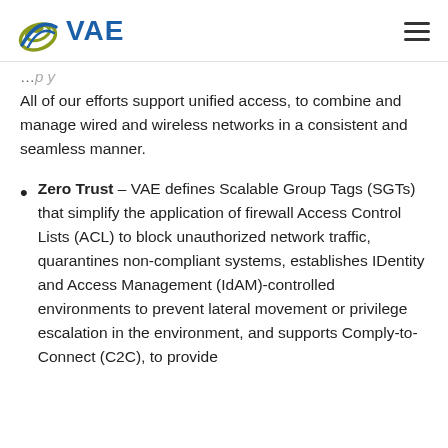VAE logo and navigation
All of our efforts support unified access, to combine and manage wired and wireless networks in a consistent and seamless manner.
Zero Trust – VAE defines Scalable Group Tags (SGTs) that simplify the application of firewall Access Control Lists (ACL) to block unauthorized network traffic, quarantines non-compliant systems, establishes IDentity and Access Management (IdAM)-controlled environments to prevent lateral movement or privilege escalation in the environment, and supports Comply-to-Connect (C2C), to provide